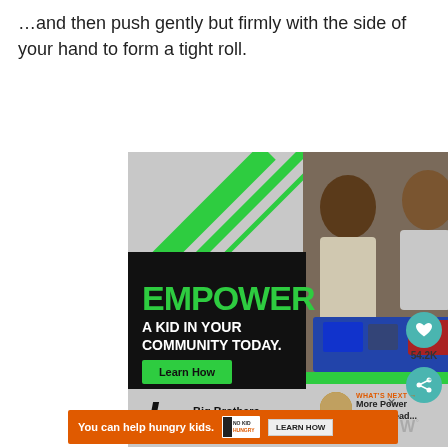…and then push gently but firmly with the side of your hand to form a tight roll.
[Figure (photo): Big Brothers Big Sisters of America advertisement showing an adult man and a boy working together on a robotics project. The ad has a black overlay on the left with green text reading EMPOWER A KID IN YOUR COMMUNITY TODAY. and a Learn How button. The photo shows the two people leaning over a toy robot.]
[Figure (infographic): Right sidebar showing a teal heart button, 54.2K count, and a teal share button]
[Figure (infographic): What's Next promo box showing a thumbnail and text: More Power Gingerbread...]
[Figure (infographic): Bottom orange banner advertisement: You can help hungry kids. No Kid Hungry logo. LEARN HOW button. Close X button.]